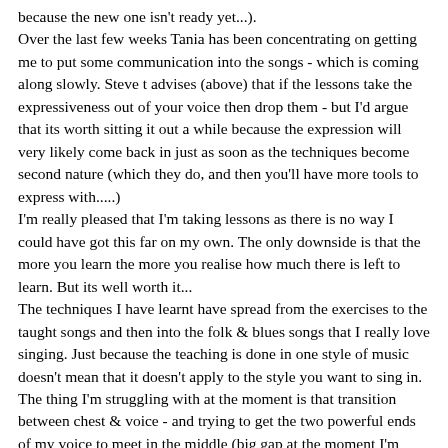because the new one isn't ready yet...).
Over the last few weeks Tania has been concentrating on getting me to put some communication into the songs - which is coming along slowly. Steve t advises (above) that if the lessons take the expressiveness out of your voice then drop them - but I'd argue that its worth sitting it out a while because the expression will very likely come back in just as soon as the techniques become second nature (which they do, and then you'll have more tools to express with.....)
I'm really pleased that I'm taking lessons as there is no way I could have got this far on my own. The only downside is that the more you learn the more you realise how much there is left to learn. But its well worth it...
The techniques I have learnt have spread from the exercises to the taught songs and then into the folk & blues songs that I really love singing. Just because the teaching is done in one style of music doesn't mean that it doesn't apply to the style you want to sing in. The thing I'm struggling with at the moment is that transition between chest & voice - and trying to get the two powerful ends of my voice to meet in the middle (big gap at the moment I'm afraid).
Reaction from friends is that the lessons have been worth while and have made huge improvements in my singing, one saying that I've gone from "someone that turns up and just does their best" to one of the better performers at the session. I even impressed my